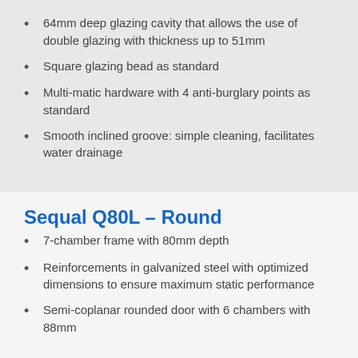64mm deep glazing cavity that allows the use of double glazing with thickness up to 51mm
Square glazing bead as standard
Multi-matic hardware with 4 anti-burglary points as standard
Smooth inclined groove: simple cleaning, facilitates water drainage
Sequal Q80L – Round
7-chamber frame with 80mm depth
Reinforcements in galvanized steel with optimized dimensions to ensure maximum static performance
Semi-coplanar rounded door with 6 chambers with 88mm